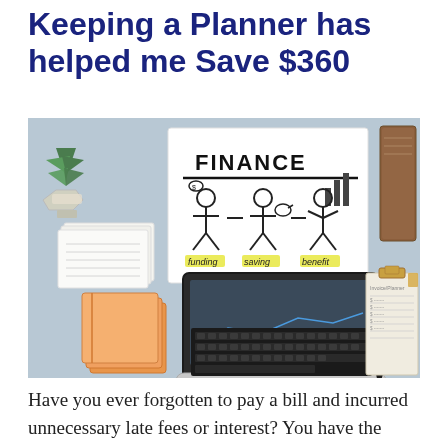Keeping a Planner has helped me Save $360
[Figure (photo): Flat lay photo of a finance-themed desk setup: laptop with keyboard, notebooks, a succulent plant, notepads, a pen, and a whiteboard sign showing 'FINANCE' with stick figures labeled funding, saving, benefit.]
Have you ever forgotten to pay a bill and incurred unnecessary late fees or interest? You have the